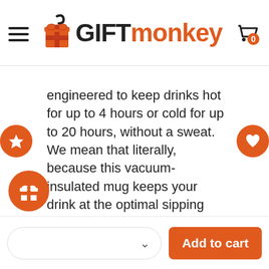GIFTmonkey
engineered to keep drinks hot for up to 4 hours or cold for up to 20 hours, without a sweat. We mean that literally, because this vacuum-insulated mug keeps your drink at the optimal sipping temperature and eliminates condensation for dry hands. The AUTOSEAL lid creates an easy one-hand drinking experience and it fits most standard car cup holders, which makes it ideal for the commute! We passionately urge parents, teachers, commuters or anyone on-the-go that loves a hot drink, to grab this mug!